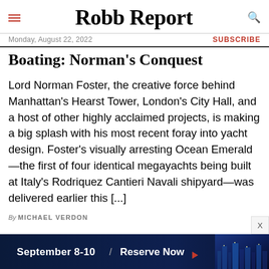Robb Report
Monday, August 22, 2022
SUBSCRIBE
Boating: Norman's Conquest
Lord Norman Foster, the creative force behind Manhattan's Hearst Tower, London's City Hall, and a host of other highly acclaimed projects, is making a big splash with his most recent foray into yacht design. Foster's visually arresting Ocean Emerald—the first of four identical megayachts being built at Italy's Rodriquez Cantieri Navali shipyard—was delivered earlier this [...]
By MICHAEL VERDON
[Figure (screenshot): Dark blue advertisement banner reading 'September 8-10 / Reserve Now' with arrow icon and cityscape image on the right]